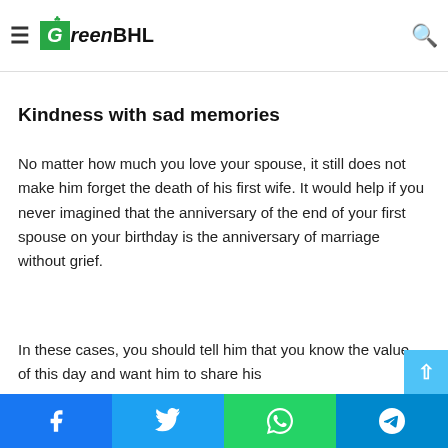GreenBHL — navigation bar with hamburger menu and search icon
factor has made him interested in you and there his interested in you. He does not care at all how similar or different you are from his late wife.
Kindness with sad memories
No matter how much you love your spouse, it still does not make him forget the death of his first wife. It would help if you never imagined that the anniversary of the end of your first spouse on your birthday is the anniversary of marriage without grief.
In these cases, you should tell him that you know the value of this day and want him to share his
Facebook | Twitter | WhatsApp | Telegram — social share bar